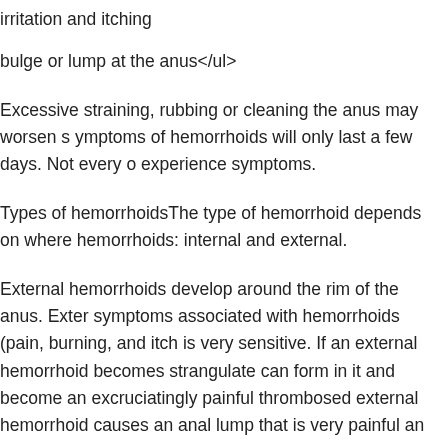irritation and itching
bulge or lump at the anus</ul>
Excessive straining, rubbing or cleaning the anus may worsen symptoms of hemorrhoids will only last a few days. Not every experience symptoms.
Types of hemorrhoidsThe type of hemorrhoid depends on where hemorrhoids: internal and external.
External hemorrhoids develop around the rim of the anus. symptoms associated with hemorrhoids (pain, burning, and itch is very sensitive. If an external hemorrhoid becomes strangulate can form in it and become an excruciatingly painful thrombosed external hemorrhoid causes an anal lump that is very painful an
Internal hemorrhoids develop inside the passageway of the anu